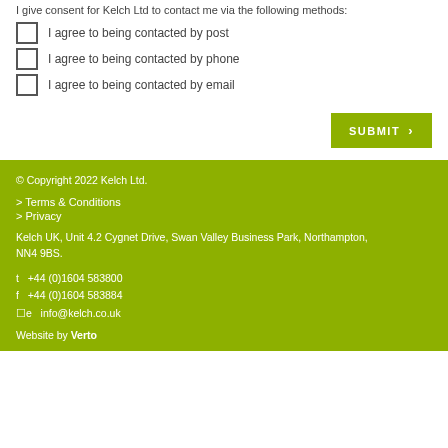I give consent for Kelch Ltd to contact me via the following methods:
I agree to being contacted by post
I agree to being contacted by phone
I agree to being contacted by email
SUBMIT
© Copyright 2022 Kelch Ltd.
> Terms & Conditions
> Privacy
Kelch UK, Unit 4.2 Cygnet Drive, Swan Valley Business Park, Northampton, NN4 9BS.
t  +44 (0)1604 583800
f  +44 (0)1604 583884
e  info@kelch.co.uk
Website by Verto